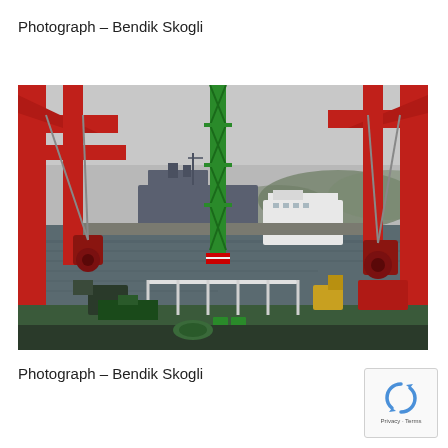Photograph – Bendik Skogli
[Figure (photo): View from a ship deck showing red crane structures on both sides, a green lattice mast/crane in the center, with a harbor scene in the background featuring a military ship, a white barge/vessel, overcast sky, and industrial port equipment.]
Photograph – Bendik Skogli